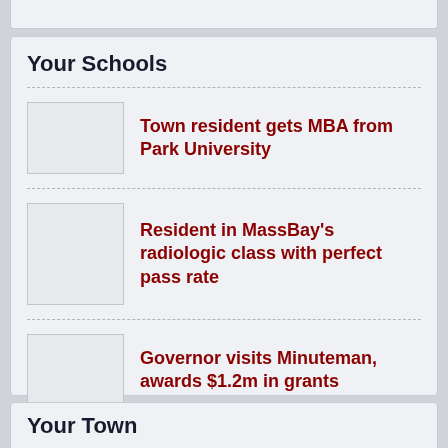Your Schools
Town resident gets MBA from Park University
Resident in MassBay's radiologic class with perfect pass rate
Governor visits Minuteman, awards $1.2m in grants
Your Town